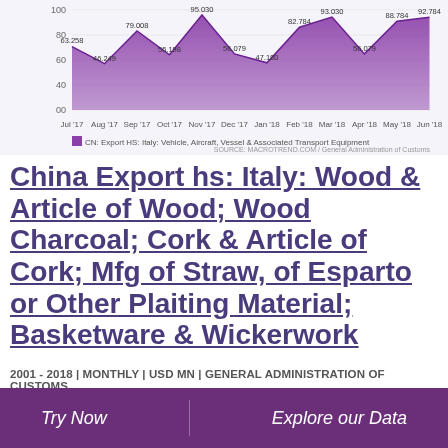[Figure (area-chart): CN: Export HS: Italy: Vehicle, Aircraft, Vessel & Associated Transport Equipment]
China Export hs: Italy: Wood & Article of Wood; Wood Charcoal; Cork & Article of Cork; Mfg of Straw, of Esparto or Other Plaiting Material; Basketware & Wickerwork
2001 - 2018 | MONTHLY | USD MN | GENERAL ADMINISTRATION OF CUSTOMS
Try Now   Explore our Data